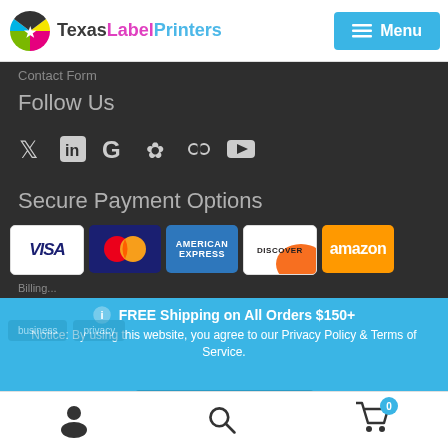TexasLabelPrinters — Menu
Contact Form
Follow Us
[Figure (illustration): Social media icons: Twitter, LinkedIn, Google, Yelp, Chain-link, YouTube]
Secure Payment Options
[Figure (illustration): Payment method logos: VISA, Mastercard, American Express, Discover, Amazon]
Billing...
FREE Shipping on All Orders $150+
Notice: By using this website, you agree to our Privacy Policy & Terms of Service.
Dismiss
User icon | Search icon | Cart (0)